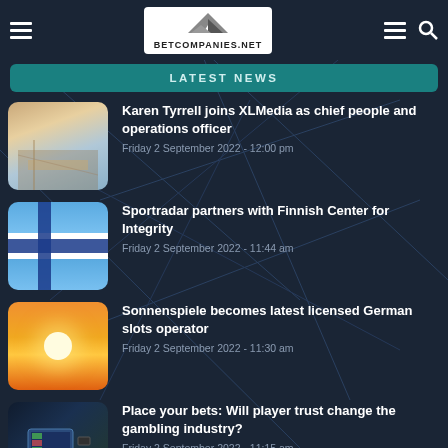BETCOMPANIES.NET
LATEST NEWS
Karen Tyrrell joins XLMedia as chief people and operations officer
Friday 2 September 2022 - 12:00 pm
Sportradar partners with Finnish Center for Integrity
Friday 2 September 2022 - 11:44 am
Sonnenspiele becomes latest licensed German slots operator
Friday 2 September 2022 - 11:30 am
Place your bets: Will player trust change the gambling industry?
Friday 2 September 2022 - 11:15 am